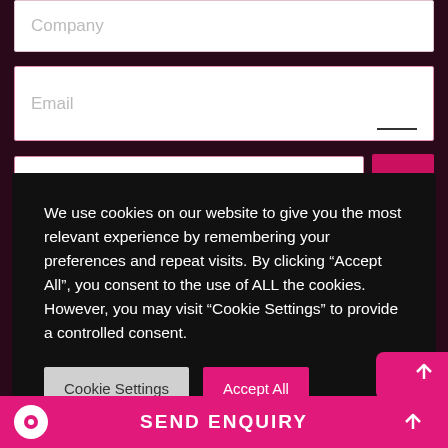Company
Email
We use cookies on our website to give you the most relevant experience by remembering your preferences and repeat visits. By clicking “Accept All”, you consent to the use of ALL the cookies. However, you may visit “Cookie Settings” to provide a controlled consent.
Cookie Settings
Accept All
SEND ENQUIRY